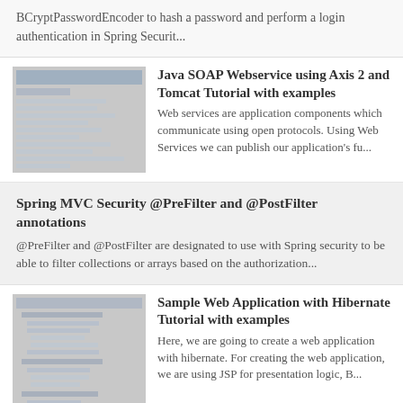BCryptPasswordEncoder to hash a password and perform a login authentication in Spring Securit...
Java SOAP Webservice using Axis 2 and Tomcat Tutorial with examples
Web services are application components which communicate using open protocols. Using Web Services we can publish our application's fu...
Spring MVC Security @PreFilter and @PostFilter annotations
@PreFilter and @PostFilter are designated to use with Spring security to be able to filter collections or arrays based on the authorization...
Sample Web Application with Hibernate Tutorial with examples
Here, we are going to create a web application with hibernate. For creating the web application, we are using JSP for presentation logic, B...